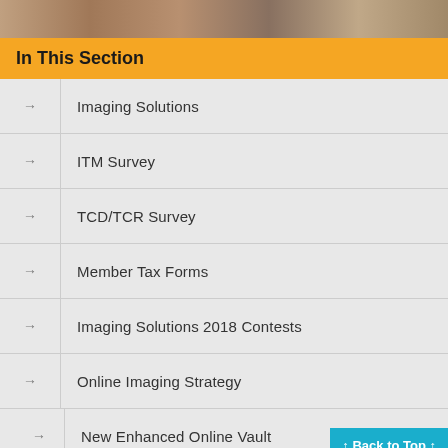[Figure (photo): Group photo banner at top of page]
In This Section
Imaging Solutions
ITM Survey
TCD/TCR Survey
Member Tax Forms
Imaging Solutions 2018 Contests
Online Imaging Strategy
New Enhanced Online Vault
Imaging Solutions AP Invoices